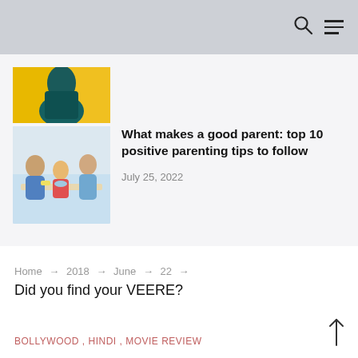Search and menu icons
[Figure (photo): Partial thumbnail of an article with yellow and teal colors, partially visible at top]
[Figure (photo): Thumbnail showing a family scene with adults and children at a table]
What makes a good parent: top 10 positive parenting tips to follow
July 25, 2022
Home → 2018 → June → 22 →
Did you find your VEERE?
BOLLYWOOD , HINDI , MOVIE REVIEW